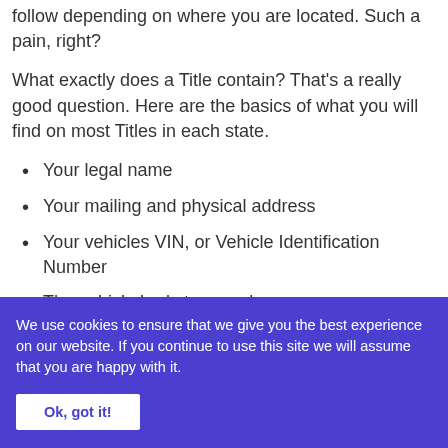follow depending on where you are located. Such a pain, right?
What exactly does a Title contain? That's a really good question. Here are the basics of what you will find on most Titles in each state.
Your legal name
Your mailing and physical address
Your vehicles VIN, or Vehicle Identification Number
The vehicle body type and usage
We use cookies to ensure that we give you the best experience on our website. If you continue to use this site we will assume that you are happy with it.
Ok, got it!